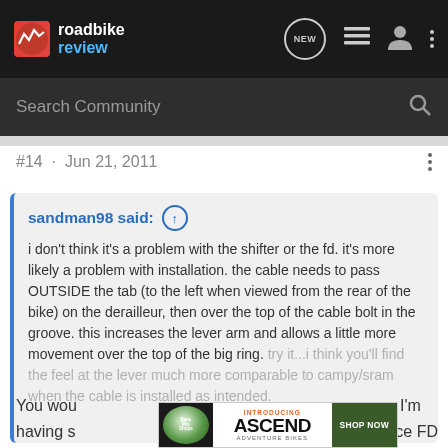roadbike review
Search Community
#14 · Jun 21, 2011
sandman98 said: ↑
i don't think it's a problem with the shifter or the fd. it's more likely a problem with installation. the cable needs to pass OUTSIDE the tab (to the left when viewed from the rear of the bike) on the derailleur, then over the top of the cable bolt in the groove. this increases the lever arm and allows a little more movement over the top of the big ring. try it...i think you'll find the feel at the lever much more comparable to campy/sram when the cable is installed as intended.
Click to expand...
You wou... I'm having s... rce FD